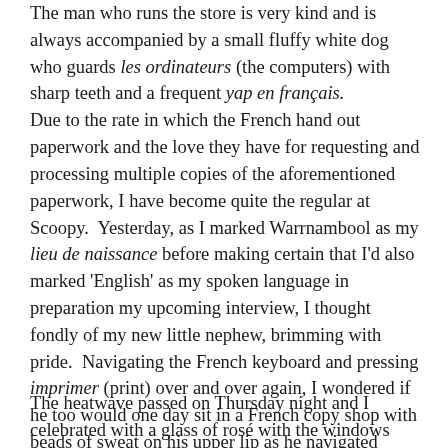The man who runs the store is very kind and is always accompanied by a small fluffy white dog who guards les ordinateurs (the computers) with sharp teeth and a frequent yap en français. Due to the rate in which the French hand out paperwork and the love they have for requesting and processing multiple copies of the aforementioned paperwork, I have become quite the regular at Scoopy.  Yesterday, as I marked Warrnambool as my lieu de naissance before making certain that I'd also marked 'English' as my spoken language in preparation my upcoming interview, I thought fondly of my new little nephew, brimming with pride.  Navigating the French keyboard and pressing imprimer (print) over and over again, I wondered if he too would one day sit in a French copy shop with beads of sweat on his upper lip as he navigated foreign forms entering 'Launceston' as his own lieu de naissance.
The heatwave passed on Thursday night and I celebrated with a glass of rosé with the windows open, allowing the cool breeze to